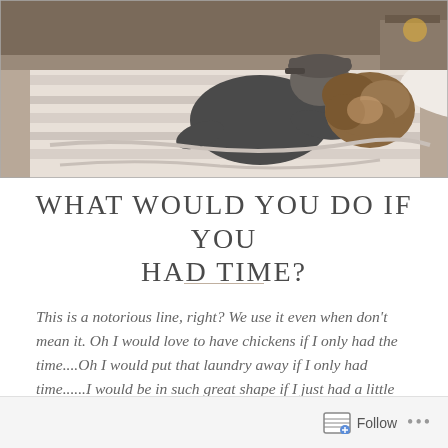[Figure (photo): A couple on a bed, man leaning over woman with curly hair, both on white/striped bedding, warm indoor lighting]
What would you do if you had time?
This is a notorious line, right? We use it even when don't mean it. Oh I would love to have chickens if I only had the time....Oh I would put that laundry away if I only had time......I would be in such great shape if I just had a little more time. We think that we have planned time to participate in these activities. How many of you feel this way about your quiet time? You
Follow